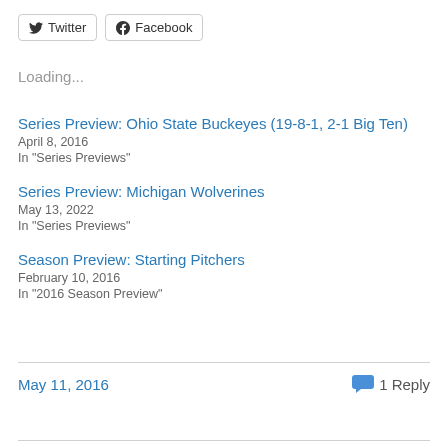[Figure (other): Twitter and Facebook share buttons]
Loading...
Series Preview: Ohio State Buckeyes (19-8-1, 2-1 Big Ten)
April 8, 2016
In "Series Previews"
Series Preview: Michigan Wolverines
May 13, 2022
In "Series Previews"
Season Preview: Starting Pitchers
February 10, 2016
In "2016 Season Preview"
May 11, 2016
1 Reply